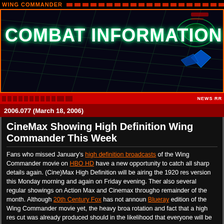WING COMMANDER — Combat Information Center
2006.077 (March 18, 2006)
CineMax Showing High Definition Wing Commander This Week
Fans who missed January's high definition broadcasts of the Wing Commander movie on HBO HD have a new opportunity to catch all sharp details again. (Cine)Max High Definition will be airing the 1920 res version this Monday morning and again on Friday evening. There also several regular showings on Action Max and Cinemax throughout remainder of the month. Although 20th Century Fox has not announced Blueray edition of the Wing Commander movie yet, the heavy broadcast rotation and fact that a high res cut was already produced should indicate the likelihood that everyone will be able to purchase a copy at a later date. But for now, these are the only two opportunities that show up on the for the next couple months. Have fun.